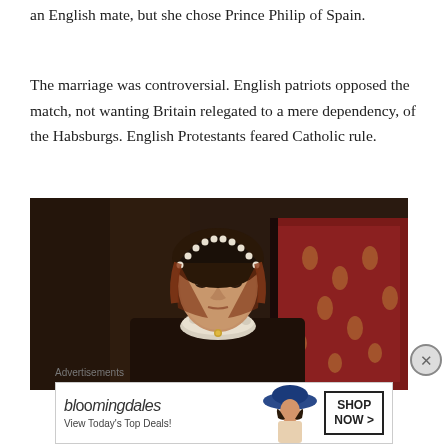an English mate, but she chose Prince Philip of Spain.
The marriage was controversial. English patriots opposed the match, not wanting Britain relegated to a mere dependency, of the Habsburgs. English Protestants feared Catholic rule.
[Figure (photo): Portrait painting of Queen Mary I of England, showing a woman with auburn hair wearing a dark Tudor-era gown with an ornate pearl-decorated headdress, seated before a red patterned textile background. Dark, Renaissance-style oil painting.]
Advertisements
[Figure (other): Bloomingdale's advertisement banner showing the Bloomingdale's logo in cursive, a woman in a wide-brimmed hat, and a 'SHOP NOW >' button. Text reads: View Today's Top Deals!]